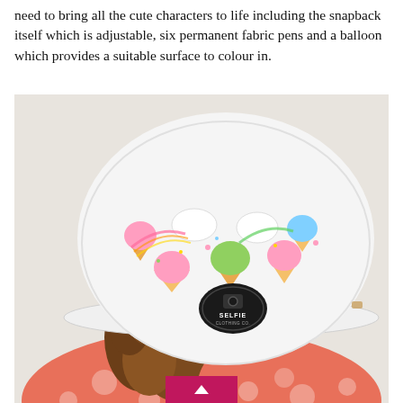need to bring all the cute characters to life including the snapback itself which is adjustable, six permanent fabric pens and a balloon which provides a suitable surface to colour in.
[Figure (photo): A child wearing a white snapback hat decorated with a colorful cartoon pattern of unicorns and ice cream cones. The hat has a 'Selfie Clothing Co.' logo badge. The child is wearing a coral/pink polka dot top and is facing away from the camera. Background is a light grey/white wall.]